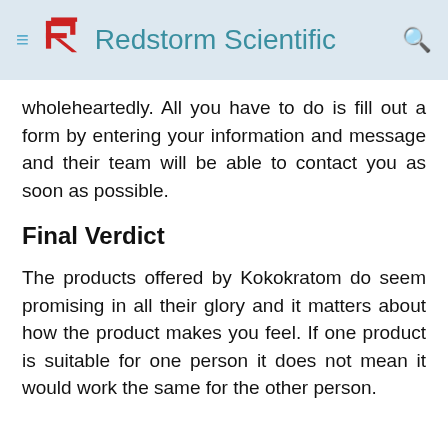≡ RS Redstorm Scientific 🔍
wholeheartedly. All you have to do is fill out a form by entering your information and message and their team will be able to contact you as soon as possible.
Final Verdict
The products offered by Kokokratom do seem promising in all their glory and it matters about how the product makes you feel. If one product is suitable for one person it does not mean it would work the same for the other person.